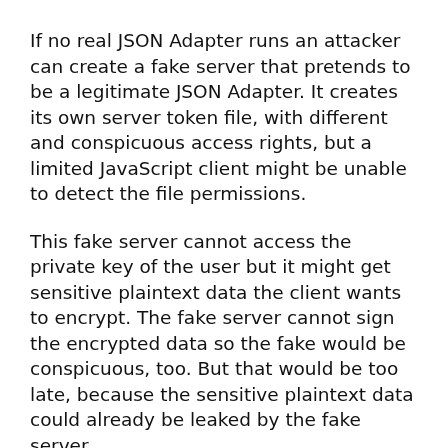If no real JSON Adapter runs an attacker can create a fake server that pretends to be a legitimate JSON Adapter. It creates its own server token file, with different and conspicuous access rights, but a limited JavaScript client might be unable to detect the file permissions.
This fake server cannot access the private key of the user but it might get sensitive plaintext data the client wants to encrypt. The fake server cannot sign the encrypted data so the fake would be conspicuous, too. But that would be too late, because the sensitive plaintext data could already be leaked by the fake server.
This attack needs a user's home directory that is writable by someone else (to create a ~/.pEp/ directory) or a foreign-writable